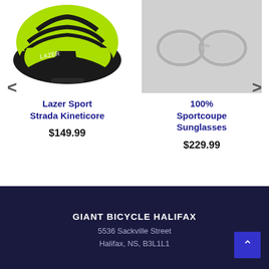[Figure (photo): Lime green and black cycling helmet (Lazer Sport Strada Kineticore), partial top view]
[Figure (photo): Sunglasses product image on grey background (100% Sportcoupe Sunglasses), partial view]
Lazer Sport Strada Kineticore
$149.99
100% Sportcoupe Sunglasses
$229.99
GIANT BICYCLE HALIFAX
5536 Sackville Street
Halifax, NS, B3L1L1